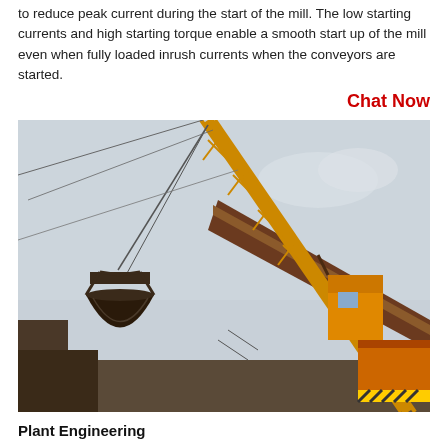to reduce peak current during the start of the mill. The low starting currents and high starting torque enable a smooth start up of the mill even when fully loaded inrush currents when the conveyors are started.
Chat Now
[Figure (photo): Industrial crane with clamshell bucket grabber and conveyor belts at a plant engineering facility.]
Plant Engineering